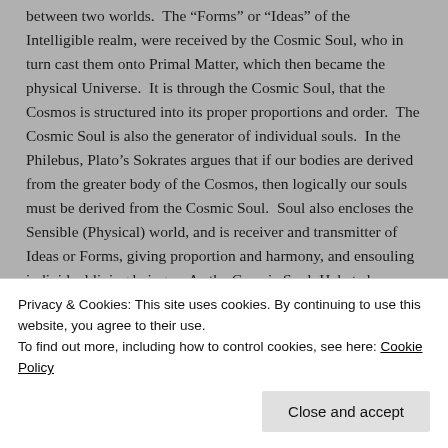between two worlds.  The “Forms” or “Ideas” of the Intelligible realm, were received by the Cosmic Soul, who in turn cast them onto Primal Matter, which then became the physical Universe.  It is through the Cosmic Soul, that the Cosmos is structured into its proper proportions and order.  The Cosmic Soul is also the generator of individual souls.  In the Philebus, Plato’s Sokrates argues that if our bodies are derived from the greater body of the Cosmos, then logically our souls must be derived from the Cosmic Soul.  Soul also encloses the Sensible (Physical) world, and is receiver and transmitter of Ideas or Forms, giving proportion and harmony, and ensouling individual living beings.   As the Cosmic Soul, Hekate became
Privacy & Cookies: This site uses cookies. By continuing to use this website, you agree to their use.
To find out more, including how to control cookies, see here: Cookie Policy